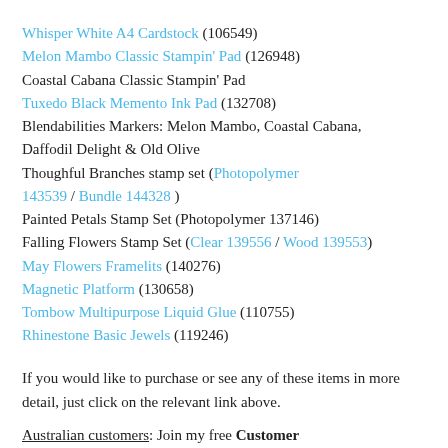Whisper White A4 Cardstock (106549)
Melon Mambo Classic Stampin' Pad (126948)
Coastal Cabana Classic Stampin' Pad
Tuxedo Black Memento Ink Pad (132708)
Blendabilities Markers: Melon Mambo, Coastal Cabana, Daffodil Delight & Old Olive
Thoughful Branches stamp set (Photopolymer 143539 / Bundle 144328 )
Painted Petals Stamp Set (Photopolymer 137146)
Falling Flowers Stamp Set (Clear 139556 / Wood 139553)
May Flowers Framelits (140276)
Magnetic Platform (130658)
Tombow Multipurpose Liquid Glue (110755)
Rhinestone Basic Jewels (119246)
If you would like to purchase or see any of these items in more detail, just click on the relevant link above.
Australian customers: Join my free Customer Rewards program by making a purchase through my online